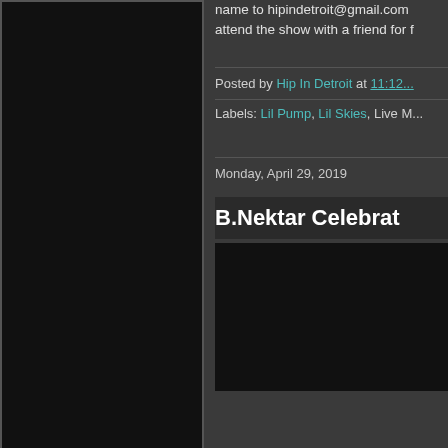[Figure (photo): Dark left panel / sidebar area, appears to be a black image or placeholder]
name to hipindetroit@gmail.com attend the show with a friend for f
Posted by Hip In Detroit at 11:12...
Labels: Lil Pump, Lil Skies, Live M...
Monday, April 29, 2019
B.Nektar Celebrat
[Figure (photo): Dark image placeholder area below the B.Nektar post title]